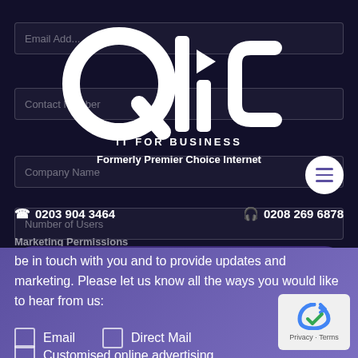[Figure (logo): Qlic IT For Business logo - white text on dark background, with tagline 'Formerly Premier Choice Internet']
Email Address
Contact Number
Company Name
Number of Users
0203 904 3464   0208 269 6878
Marketing Permissions
Get a Quote   For Charity
be in touch with you and to provide updates and marketing. Please let us know all the ways you would like to hear from us:
Email   Direct Mail
Customised online advertising